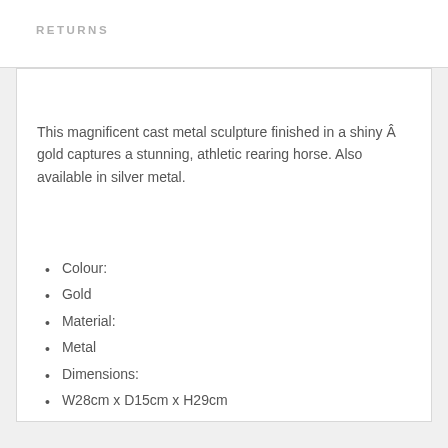RETURNS
This magnificent cast metal sculpture finished in a shiny Â gold captures a stunning, athletic rearing horse. Also available in silver metal.
Colour:
Gold
Material:
Metal
Dimensions:
W28cm x D15cm x H29cm